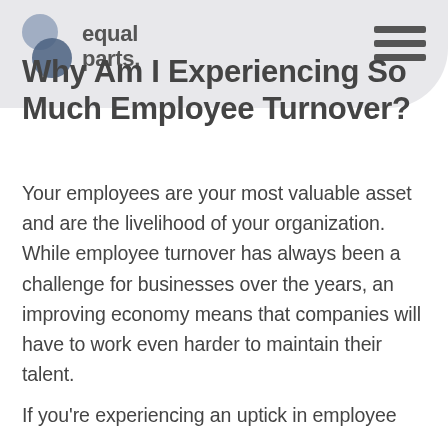equal parts
Why Am I Experiencing So Much Employee Turnover?
Your employees are your most valuable asset and are the livelihood of your organization. While employee turnover has always been a challenge for businesses over the years, an improving economy means that companies will have to work even harder to maintain their talent.
If you're experiencing an uptick in employee